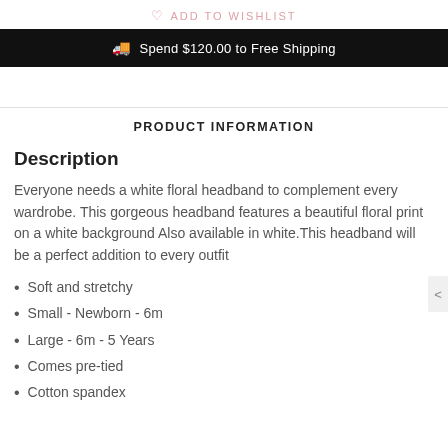ADD TO WISHLIST
Spend $120.00 to Free Shipping
PRODUCT INFORMATION
Description
Everyone needs a white floral headband to complement every wardrobe. This gorgeous headband features a beautiful floral print on a white background Also available in white.This headband will be a perfect addition to every outfit
Soft and stretchy
Small - Newborn - 6m
Large - 6m - 5 Years
Comes pre-tied
Cotton spandex